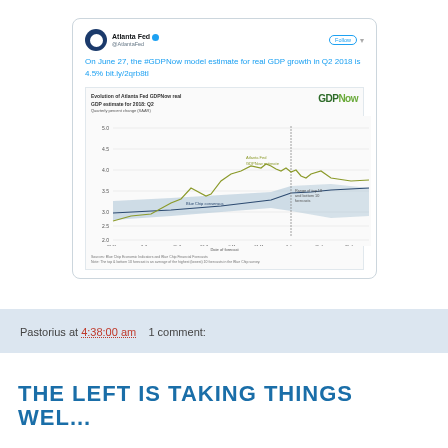[Figure (screenshot): Screenshot of an Atlanta Fed tweet showing the GDPNow model estimate for real GDP growth in Q2 2018 is 4.5%, with an embedded line chart showing the evolution of the Atlanta Fed GDPNow real GDP estimate for 2018: Q2, quarterly percent change (SAAR), with date of forecast on x-axis ranging from 22-Mar to 26-Jun, and values from 2.0 to 5.0, showing Atlanta Fed GDPNow estimate line (olive/green) and Blue Chip consensus line with shaded range of top 10 and bottom 10 forecasts.]
Pastorius at 4:38:00 am    1 comment:
THE LEFT IS TAKING THINGS WEL...